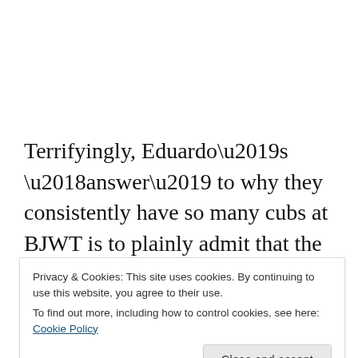Terrifyingly, Eduardo’s ‘answer’ to why they consistently have so many cubs at BJWT is to plainly admit that the breeding of big cats is still allowed in Mexico, that he has attempted to buy out breeders, and that the money is going the other way, subsequently supporting
Privacy & Cookies: This site uses cookies. By continuing to use this website, you agree to their use. To find out more, including how to control cookies, see here: Cookie Policy